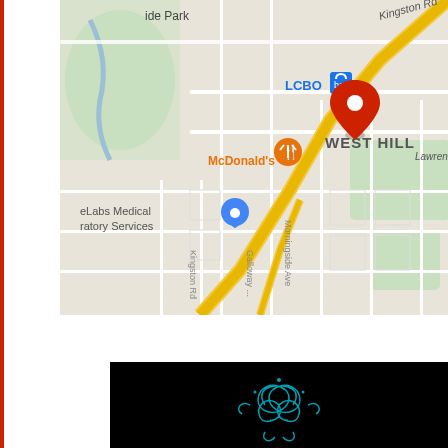[Figure (map): Google Maps view of West Hill area in Toronto showing Kingston Rd, Morningside Ave, Lawrence Ave, McDonald's, LCBO, eLabs Medical Laboratory Services locations. A red map pin marks a location in the West Hill neighborhood. The map shows road network with yellow highlighted Kingston Rd highway running diagonally.]
View Larger Map
[Figure (photo): Dark/black background image with teal/cyan decorative swirl or ornamental design pattern.]